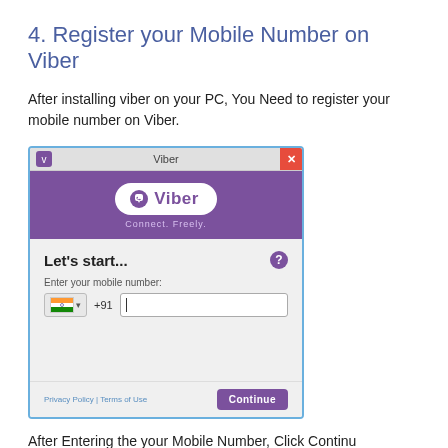4. Register your Mobile Number on Viber
After installing viber on your PC, You Need to register your mobile number on Viber.
[Figure (screenshot): Screenshot of Viber desktop application registration screen showing the Viber logo with 'Connect. Freely.' tagline, a 'Let's start...' heading with help icon, a mobile number entry field with India flag and +91 country code, and a Continue button with Privacy Policy and Terms of Use links at the bottom.]
After Entering the your Mobile Number, Click Continu